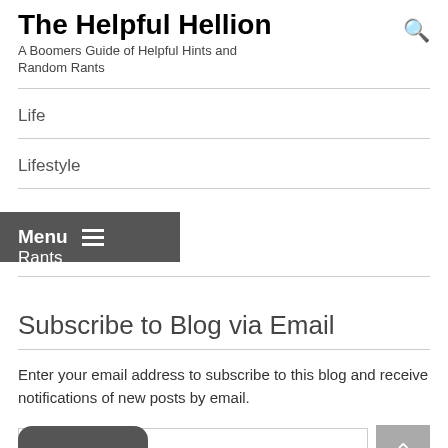The Helpful Hellion
A Boomers Guide of Helpful Hints and Random Rants
Life
Lifestyle
Rants
Subscribe to Blog via Email
Enter your email address to subscribe to this blog and receive notifications of new posts by email.